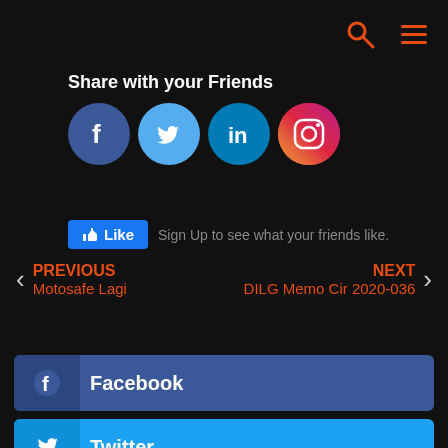Navigation bar with search and menu icons
Share with your Friends
[Figure (other): Social media share icons: Facebook, Twitter, LinkedIn, Instagram circular icons]
Like  Sign Up to see what your friends like.
PREVIOUS  Motosafe Lagi
NEXT  DILG Memo Cir 2020-036
Facebook
Twitter
LinkedIn